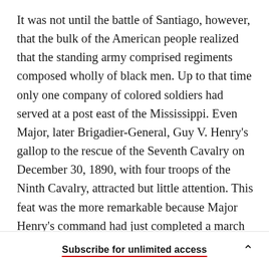It was not until the battle of Santiago, however, that the bulk of the American people realized that the standing army comprised regiments composed wholly of black men. Up to that time only one company of colored soldiers had served at a post east of the Mississippi. Even Major, later Brigadier-General, Guy V. Henry's gallop to the rescue of the Seventh Cavalry on December 30, 1890, with four troops of the Ninth Cavalry, attracted but little attention. This feat was the more remarkable because Major Henry's command had just completed a march of more than one hundred miles in twenty-four hours. But in the battle at
Subscribe for unlimited access